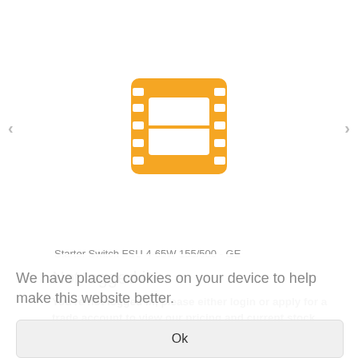[Figure (illustration): Orange film strip / movie reel icon centered in the upper portion of the page, with left and right navigation arrows on either side]
Starter Switch FSU 4-65W 155/500 - GE
Not logged in
You're not logged in, please either login or apply for a trade account to view our pricing and current stock levels.
We have placed cookies on your device to help make this website better.
Ok